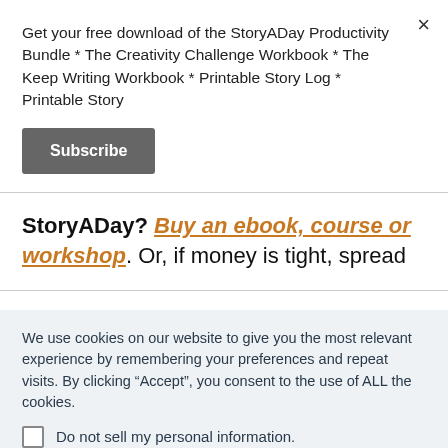Get your free download of the StoryADay Productivity Bundle * The Creativity Challenge Workbook * The Keep Writing Workbook * Printable Story Log * Printable Story
Subscribe
StoryADay? Buy an ebook, course or workshop. Or, if money is tight, spread
We use cookies on our website to give you the most relevant experience by remembering your preferences and repeat visits. By clicking “Accept”, you consent to the use of ALL the cookies.
Do not sell my personal information.
Cookie Settings
Accept